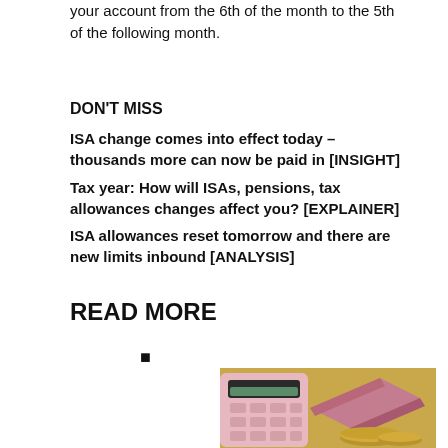your account from the 6th of the month to the 5th of the following month.
DON'T MISS
ISA change comes into effect today – thousands more can now be paid in [INSIGHT]
Tax year: How will ISAs, pensions, tax allowances changes affect you? [EXPLAINER]
ISA allowances reset tomorrow and there are new limits inbound [ANALYSIS]
READ MORE
■
[Figure (photo): A pink calculator next to folded UK banknotes stacked on top of gold coins, on a blurred background of more coins]